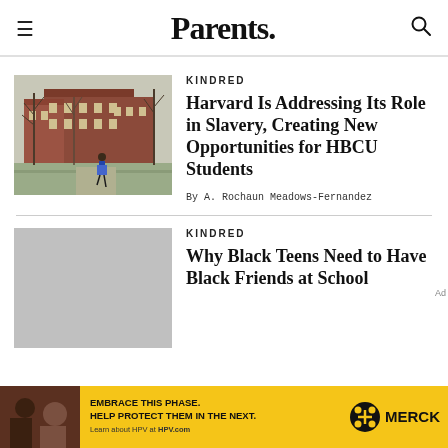Parents.
KINDRED
Harvard Is Addressing Its Role in Slavery, Creating New Opportunities for HBCU Students
By A. Rochaun Meadows-Fernandez
KINDRED
Why Black Teens Need to Have Black Friends at School
[Figure (photo): Advertisement banner for Merck HPV vaccine - yellow background with family photo, text: EMBRACE THIS PHASE. HELP PROTECT THEM IN THE NEXT. Learn about HPV at HPV.com]